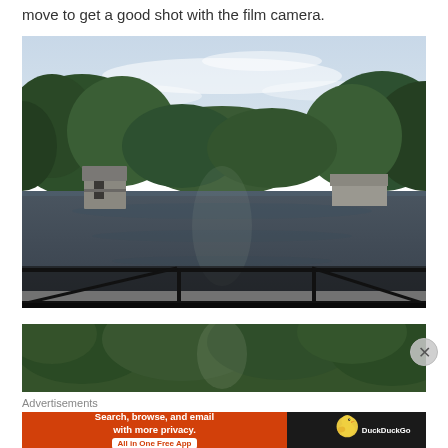move to get a good shot with the film camera.
[Figure (photo): Outdoor photograph of a calm lake or pond surrounded by dense green trees. A small boathouse or dock structure is visible on the left bank. The sky is partly cloudy. In the foreground, a dark metal railing/fence is visible at the bottom of the frame.]
[Figure (photo): Partial view of another outdoor photograph showing green trees, partially cropped at the top of the frame.]
Advertisements
[Figure (infographic): DuckDuckGo advertisement banner. Left side: orange background with white bold text 'Search, browse, and email with more privacy.' and a white button 'All in One Free App'. Right side: dark background with DuckDuckGo duck logo and 'DuckDuckGo' text in white.]